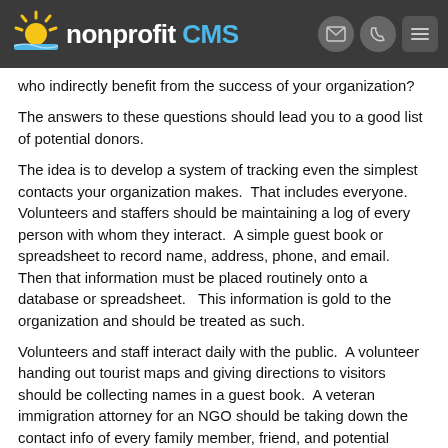nonprofit CMS
who indirectly benefit from the success of your organization?
The answers to these questions should lead you to a good list of potential donors.
The idea is to develop a system of tracking even the simplest contacts your organization makes.  That includes everyone.  Volunteers and staffers should be maintaining a log of every person with whom they interact.  A simple guest book or spreadsheet to record name, address, phone, and email.  Then that information must be placed routinely onto a database or spreadsheet.   This information is gold to the organization and should be treated as such.
Volunteers and staff interact daily with the public.  A volunteer handing out tourist maps and giving directions to visitors should be collecting names in a guest book.  A veteran immigration attorney for an NGO should be taking down the contact info of every family member, friend, and potential employer that has interest in his client's immigration status.  These are all potential sources of funding.  Even your clients who may be penniless now can become your strongest advocates and supporters once they get on their feet.
These constituents can see the value of your work first hand